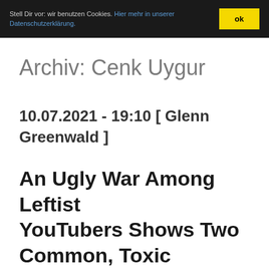Stell Dir vor: wir benutzen Cookies. Hier mehr in unserer Datenschutzerklärung. ok
Archiv: Cenk Uygur
10.07.2021 - 19:10 [ Glenn Greenwald ]
An Ugly War Among Leftist YouTubers Shows Two Common, Toxic Pathologies